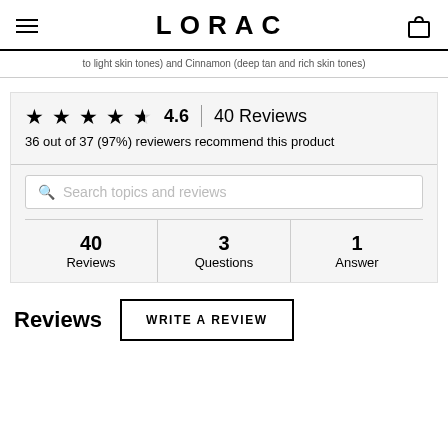LORAC
to light skin tones) and Cinnamon (deep tan and rich skin tones)
4.6  |  40 Reviews
36 out of 37 (97%) reviewers recommend this product
Search topics and reviews
| 40 Reviews | 3 Questions | 1 Answer |
| --- | --- | --- |
Reviews
WRITE A REVIEW